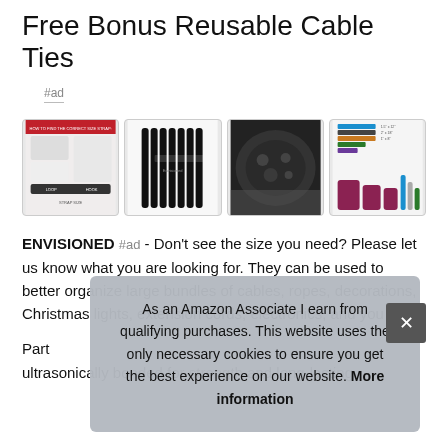Free Bonus Reusable Cable Ties
#ad
[Figure (photo): Four product image thumbnails showing cable tie straps, a set of black cable ties laid out, a close-up of velcro/hook-and-loop fabric, and a colorful product lineup with luggage and accessories.]
ENVISIONED #ad - Don't see the size you need? Please let us know what you are looking for. They can be used to better organize large bundles of cables, ropes, decorations, Christmas lights, extension cords, electronics, and you...
Part... ultrasonically bonded for strength and long-lasting
As an Amazon Associate I earn from qualifying purchases. This website uses the only necessary cookies to ensure you get the best experience on our website. More information